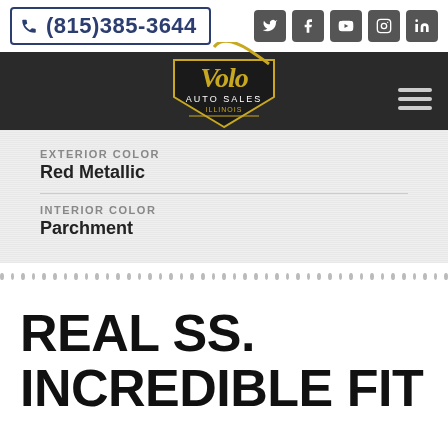(815)385-3644
[Figure (logo): Volo Auto Sales Illinois shield logo with gold script lettering]
EXTERIOR COLOR
Red Metallic
INTERIOR COLOR
Parchment
REAL SS. INCREDIBLE FIT